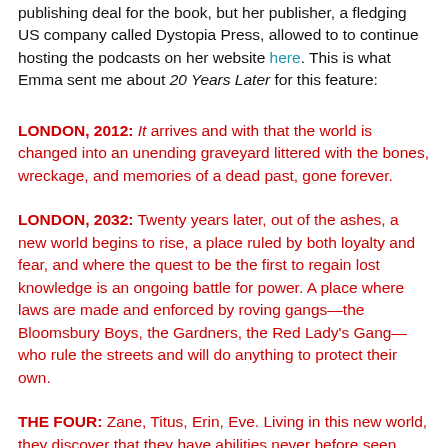publishing deal for the book, but her publisher, a fledging US company called Dystopia Press, allowed to to continue hosting the podcasts on her website here. This is what Emma sent me about 20 Years Later for this feature:
LONDON, 2012: It arrives and with that the world is changed into an unending graveyard littered with the bones, wreckage, and memories of a dead past, gone forever.
LONDON, 2032: Twenty years later, out of the ashes, a new world begins to rise, a place ruled by both loyalty and fear, and where the quest to be the first to regain lost knowledge is an ongoing battle for power. A place where laws are made and enforced by roving gangs—the Bloomsbury Boys, the Gardners, the Red Lady's Gang—who rule the streets and will do anything to protect their own.
THE FOUR: Zane, Titus, Erin, Eve. Living in this new world, they discover that they have abilities never before seen.  And little do they know that as they search post-apocalyptic London for Titus' kidnapped sister that they'll uncover the